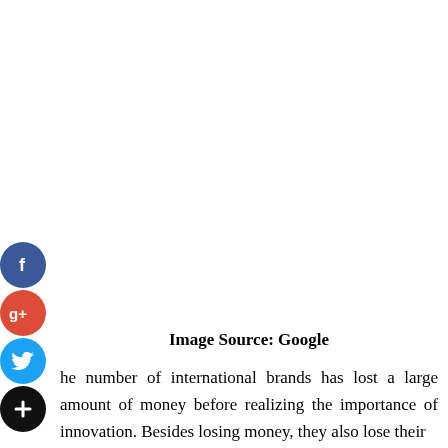[Figure (illustration): Social media share icons: Facebook (blue circle with f), Google+ (red circle with g+), Twitter (light blue circle with bird), and a black plus/share circle, arranged vertically on the left side of the page.]
Image Source: Google
The number of international brands has lost a large amount of money before realizing the importance of innovation. Besides losing money, they also lose their